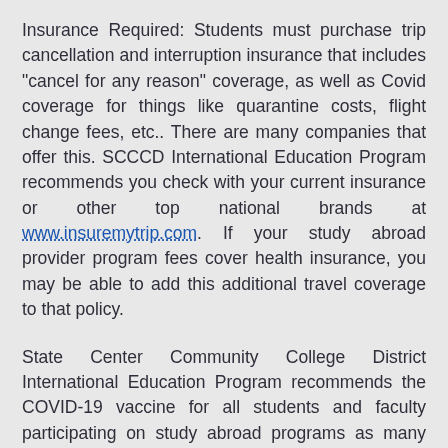Insurance Required: Students must purchase trip cancellation and interruption insurance that includes "cancel for any reason" coverage, as well as Covid coverage for things like quarantine costs, flight change fees, etc.. There are many companies that offer this. SCCCD International Education Program recommends you check with your current insurance or other top national brands at www.insuremytrip.com. If your study abroad provider program fees cover health insurance, you may be able to add this additional travel coverage to that policy.
State Center Community College District International Education Program recommends the COVID-19 vaccine for all students and faculty participating on study abroad programs as many countries now require vaccination (and sometimes also a negative test) for entry. For each program,